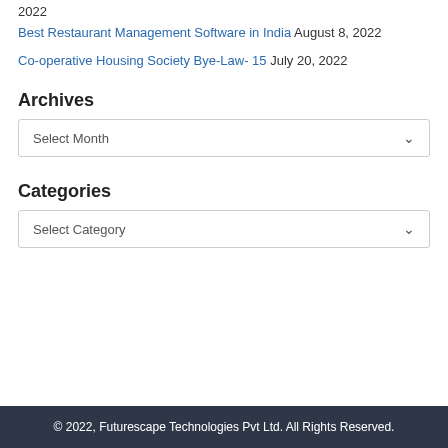2022
Best Restaurant Management Software in India August 8, 2022
Co-operative Housing Society Bye-Law- 15 July 20, 2022
Archives
Select Month
Categories
Select Category
© 2022, Futurescape Technologies Pvt Ltd. All Rights Reserved.